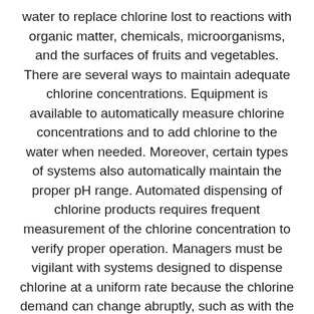water to replace chlorine lost to reactions with organic matter, chemicals, microorganisms, and the surfaces of fruits and vegetables. There are several ways to maintain adequate chlorine concentrations. Equipment is available to automatically measure chlorine concentrations and to add chlorine to the water when needed. Moreover, certain types of systems also automatically maintain the proper pH range. Automated dispensing of chlorine products requires frequent measurement of the chlorine concentration to verify proper operation. Managers must be vigilant with systems designed to dispense chlorine at a uniform rate because the chlorine demand can change abruptly, such as with the addition of product from a different field, a different grower, or a different field crew. Manual addition of chlorine